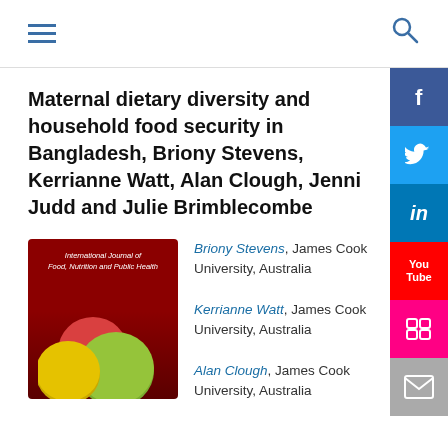[Navigation bar with hamburger menu and search icon]
Maternal dietary diversity and household food security in Bangladesh, Briony Stevens, Kerrianne Watt, Alan Clough, Jenni Judd and Julie Brimblecombe
[Figure (illustration): Journal cover of International Journal of Food, Nutrition and Public Health showing a dark red background with colorful coins/medals at the bottom]
Briony Stevens, James Cook University, Australia
Kerrianne Watt, James Cook University, Australia
Alan Clough, James Cook University, Australia